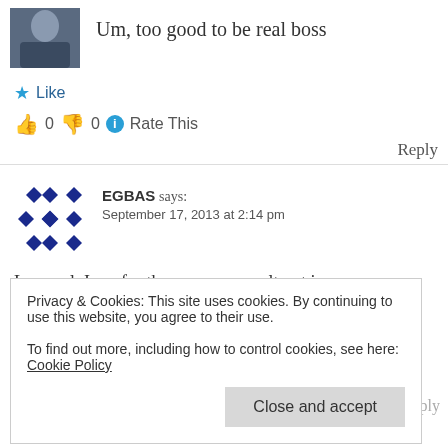[Figure (photo): User avatar photo showing person in dark suit]
Um, too good to be real boss
★ Like
👍 0 👎 0 ℹ Rate This
Reply
[Figure (logo): EGBAS geometric blue diamond pattern avatar]
EGBAS says: September 17, 2013 at 2:14 pm
Loooool. I am for the measures spelt out in this piece to be implemented to the letter
Privacy & Cookies: This site uses cookies. By continuing to use this website, you agree to their use. To find out more, including how to control cookies, see here: Cookie Policy
Close and accept